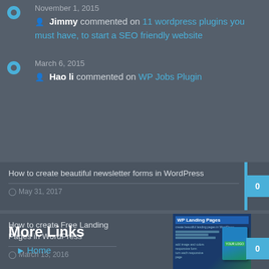November 1, 2015 — Jimmy commented on 11 wordpress plugins you must have, to start a SEO friendly website
March 6, 2015 — Hao li commented on WP Jobs Plugin
How to create beautiful newsletter forms in WordPress — May 31, 2017 — 0
[Figure (screenshot): How to create Free Landing Pages in WordPress post card with WP Landing Pages plugin thumbnail image and 0 comment badge. Date: March 13, 2016]
More Links
Home